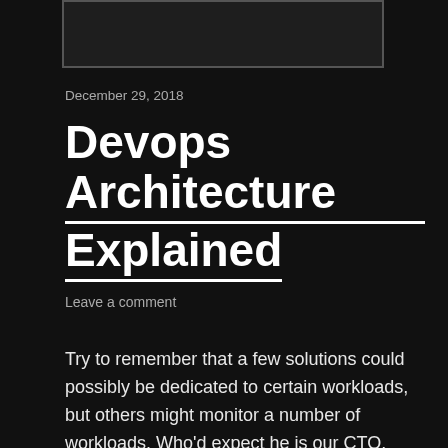[Figure (other): Blank/placeholder image box with dark background and border]
December 29, 2018
Devops Architecture Explained
Leave a comment
Try to remember that a few solutions could possibly be dedicated to certain workloads, but others might monitor a number of workloads. Who'd expect he is our CTO. DevOps has turned into one of our industry's most well-known